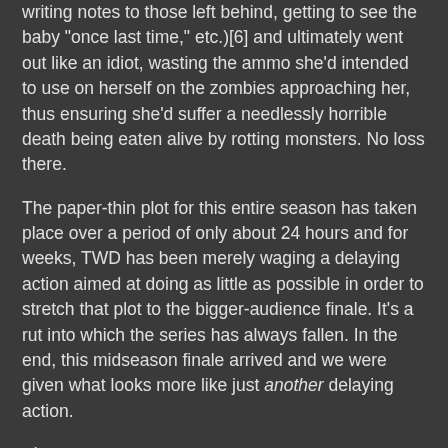writing notes to those left behind, getting to see the baby "once last time," etc.)[6] and ultimately went out like an idiot, wasting the ammo she'd intended to use on herself on the zombies approaching her, thus ensuring she'd suffer a needlessly horrible death being eaten alive by rotting monsters. No loss there.
The paper-thin plot for this entire season has taken place over a period of only about 24 hours and for weeks, TWD has been merely waging a delaying action aimed at doing as little as possible in order to stretch that plot to the bigger-audience finale. It's a rut into which the series has always fallen. In the end, this midseason finale arrived and we were given what looks more like just another delaying action.
--j.
---
[1] I'm not sure what sort of mind one must have to sit through this ep without greeting the characters' actions with utter incredulity. Everyone runs into houses but no one looks